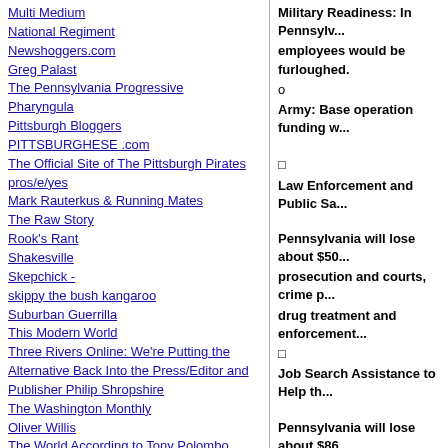Multi Medium
National Regiment
Newshoggers.com
Greg Palast
The Pennsylvania Progressive
Pharyngula
Pittsburgh Bloggers
PITTSBURGHESE .com
The Official Site of The Pittsburgh Pirates
pros/e/yes
Mark Rauterkus & Running Mates
The Raw Story
Rook's Rant
Shakesville
Skepchick -
skippy the bush kangaroo
Suburban Guerrilla
This Modern World
Three Rivers Online: We're Putting the Alternative Back Into the Press/Editor and Publisher Philip Shropshire
The Washington Monthly
Oliver Willis
The World According to Tony Polombo
CSI Without Dead Bodies
Small Town, Great Life
Military Readiness: In Pennsylv... employees would be furloughed.
o
Army: Base operation funding w...
□
Law Enforcement and Public Sa...
Pennsylvania will lose about $50... prosecution and courts, crime p... drug treatment and enforcement...
□
Job Search Assistance to Help th...
Pennsylvania will lose about $86... meaning around 36,860 fewer p...
□
Child Care: Up to 1,800 disadva...